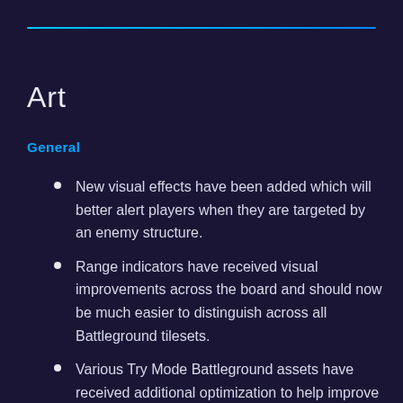Art
General
New visual effects have been added which will better alert players when they are targeted by an enemy structure.
Range indicators have received visual improvements across the board and should now be much easier to distinguish across all Battleground tilesets.
Various Try Mode Battleground assets have received additional optimization to help improve load times.